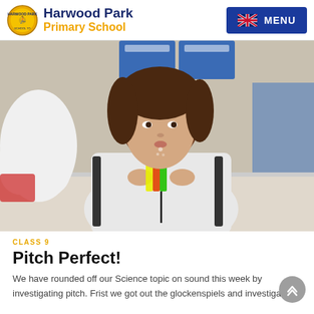Harwood Park Primary School — MENU
[Figure (photo): A young child blowing through a straw instrument at a classroom table, science activity on sound and pitch. Another child visible in background near blue storage bins.]
CLASS 9
Pitch Perfect!
We have rounded off our Science topic on sound this week by investigating pitch. Frist we got out the glockenspiels and investigated